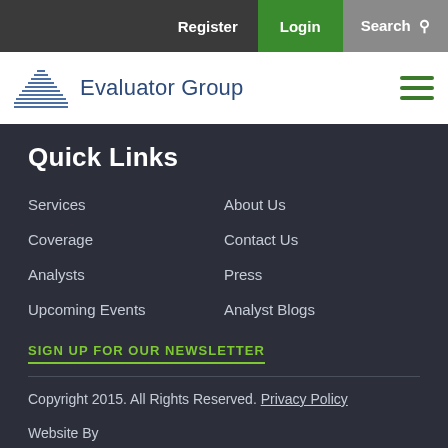Register | Login | Search
[Figure (logo): Evaluator Group logo with pyramid icon and text]
Quick Links
Services
About Us
Coverage
Contact Us
Analysts
Press
Upcoming Events
Analyst Blogs
SIGN UP FOR OUR NEWSLETTER
Copyright 2015. All Rights Reserved. Privacy Policy
Website By